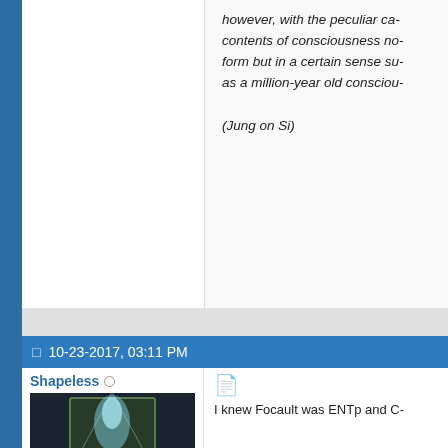however, with the peculiar ca... contents of consciousness no... form but in a certain sense su... as a million-year old consciou...
(Jung on Si)
10-23-2017, 03:11 PM
Shapeless
[Figure (illustration): Fantasy illustration of a glowing figure emerging from a portal/doorway with a person sitting on a bench in front]
Join Date:   Sep 2017
Posts:          60
Mentioned:  8 Post(s)
I knew Focault was ENTp and C...
He worked on punishment syste... against law. How they reply to e... A phrase that he said sounds lik... are you, because the life is bas... yourself'. SOmething ike that I c...
https://quotefancy.com/quote/16...